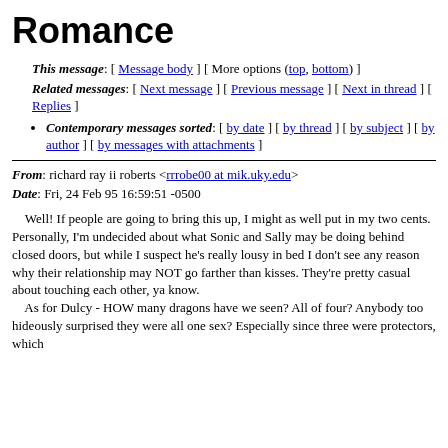Romance
This message: [ Message body ] [ More options (top, bottom) ]
Related messages: [ Next message ] [ Previous message ] [ Next in thread ] [ Replies ]
Contemporary messages sorted: [ by date ] [ by thread ] [ by subject ] [ by author ] [ by messages with attachments ]
From: richard ray ii roberts <rrrobe00 at mik.uky.edu>
Date: Fri, 24 Feb 95 16:59:51 -0500
Well! If people are going to bring this up, I might as well put in my two cents. Personally, I'm undecided about what Sonic and Sally may be doing behind closed doors, but while I suspect he's really lousy in bed I don't see any reason why their relationship may NOT go farther than kisses. They're pretty casual about touching each other, ya know.
    As for Dulcy - HOW many dragons have we seen? All of four? Anybody too hideously surprised they were all one sex? Especially since three were protectors, which